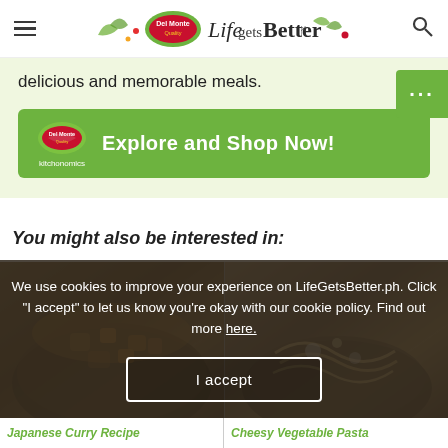Del Monte Life Gets Better — navigation header
delicious and memorable meals.
Explore and Shop Now! — kitchonomics
You might also be interested in:
[Figure (photo): Two food dishes: Japanese Curry and Cheesy Vegetable Pasta, shown as thumbnail images in a grid layout below the section header.]
We use cookies to improve your experience on LifeGetsBetter.ph. Click "I accept" to let us know you're okay with our cookie policy. Find out more here.
I accept
Japanese Curry Recipe
Cheesy Vegetable Pasta